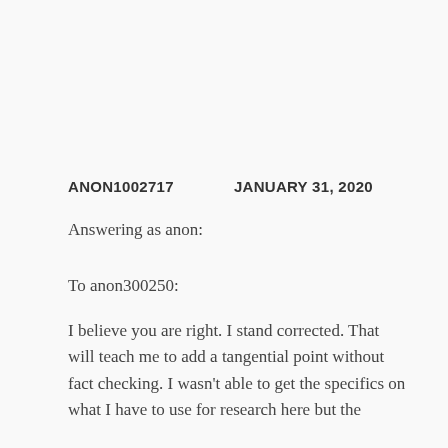ANON1002717   JANUARY 31, 2020
Answering as anon:
To anon300250:
I believe you are right. I stand corrected. That will teach me to add a tangential point without fact checking. I wasn't able to get the specifics on what I have to use for research here but the